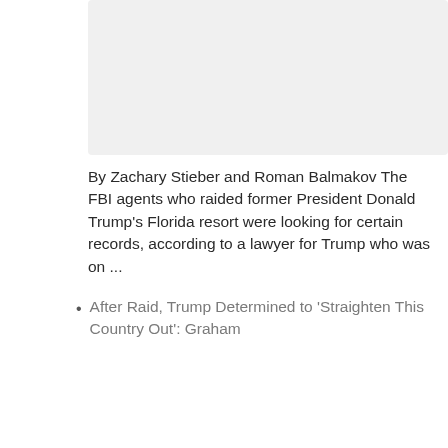[Figure (other): Gray rectangular placeholder image area]
By Zachary Stieber and Roman Balmakov The FBI agents who raided former President Donald Trump's Florida resort were looking for certain records, according to a lawyer for Trump who was on ...
After Raid, Trump Determined to 'Straighten This Country Out': Graham